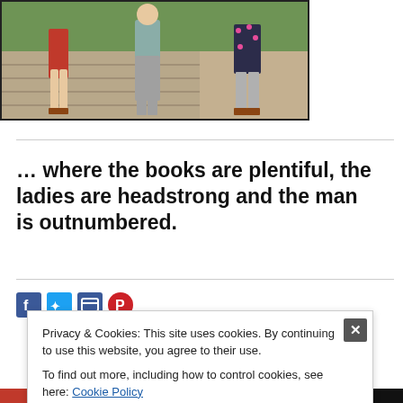[Figure (photo): Three young children walking on a wooden boardwalk, seen from behind/side. One child wears a red skirt with sandals, one wears a grey top and grey pants, one wears a dark floral dress with grey leggings. Green grass and dirt path in background.]
… where the books are plentiful, the ladies are headstrong and the man is outnumbered.
Privacy & Cookies: This site uses cookies. By continuing to use this website, you agree to their use.
To find out more, including how to control cookies, see here: Cookie Policy